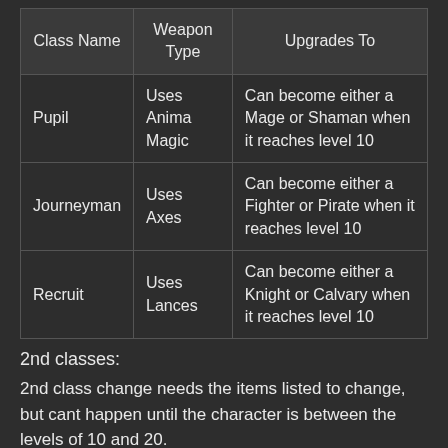| Class Name | Weapon Type | Upgrades To |
| --- | --- | --- |
| Pupil | Uses Anima Magic | Can become either a Mage or Shaman when it reaches level 10 |
| Journeyman | Uses Axes | Can become either a Fighter or Pirate when it reaches level 10 |
| Recruit | Uses Lances | Can become either a Knight or Calvary when it reaches level 10 |
2nd classes:
2nd class change needs the items listed to change, but cant happen until the character is between the levels of 10 and 20.